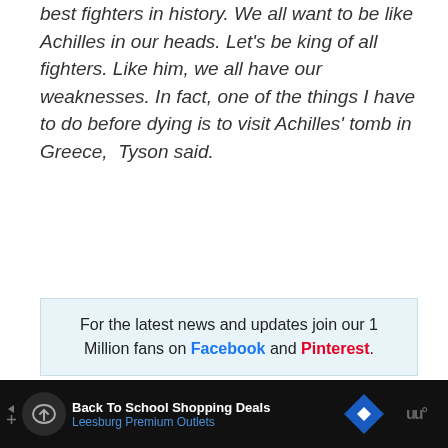best fighters in history. We all want to be like Achilles in our heads. Let's be king of all fighters. Like him, we all have our weaknesses. In fact, one of the things I have to do before dying is to visit Achilles' tomb in Greece,  Tyson said.
For the latest news and updates join our 1 Million fans on Facebook and Pinterest.
[Figure (screenshot): Social media share buttons: Facebook blue square icon, Twitter blue bird icon, Pinterest red icon with count 0, dark scroll-up button, Reddit orange icon with count 0, blue plus button]
[Figure (infographic): Ad bar at bottom: Back To School Shopping Deals, Leesburg Premium Outlets]